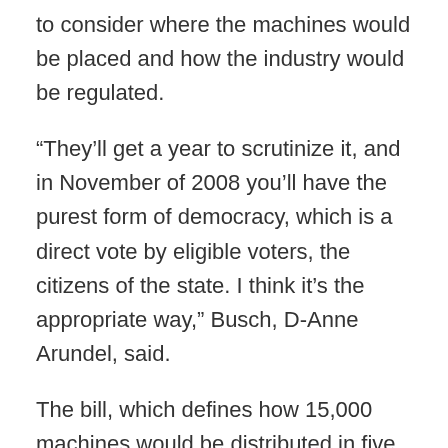to consider where the machines would be placed and how the industry would be regulated.
“They’ll get a year to scrutinize it, and in November of 2008 you’ll have the purest form of democracy, which is a direct vote by eligible voters, the citizens of the state. I think it’s the appropriate way,” Busch, D-Anne Arundel, said.
The bill, which defines how 15,000 machines would be distributed in five locations, complements another measure the House barely managed to pass Friday night to hold a referendum on whether to legalize slot machines. The House vote on Friday was 86-52, just one vote above the 85 needed for a three-fifths majority, to put the politically difficult issue on the ballot for voters to